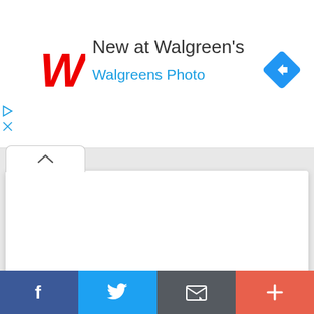[Figure (screenshot): Walgreens ad banner with red W logo, title 'New at Walgreen's', subtitle 'Walgreens Photo', blue diamond navigation icon, and ad play/close controls]
Venus Planet Moving
[Figure (screenshot): Bottom social share toolbar with Facebook, Twitter, Email, and More (+) buttons]